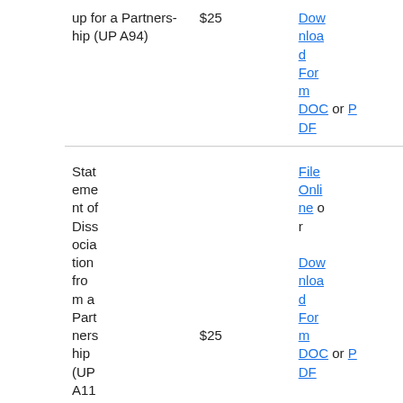| Form | Fee | File/Download |
| --- | --- | --- |
| up for a Partnership (UPA94) | $25 | Download Form DOC or PDF |
| Statement of Dissociation from a Partnership (UPA115) | $25 | File Online or Download Form DOC or PDF |